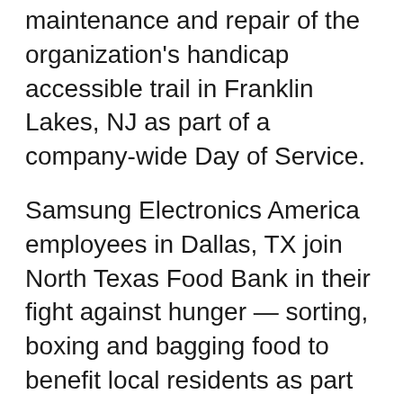maintenance and repair of the organization's handicap accessible trail in Franklin Lakes, NJ as part of a company-wide Day of Service.
Samsung Electronics America employees in Dallas, TX join North Texas Food Bank in their fight against hunger — sorting, boxing and bagging food to benefit local residents as part of the company's 8th Day of Service.North Texas Food Bank provides access to more than 170,000 meals each day for hungry children, seniors and families through a network of more than 1,000 programs and 200 partner agencies across 13 counties.
Employees from the DC office use their VTO